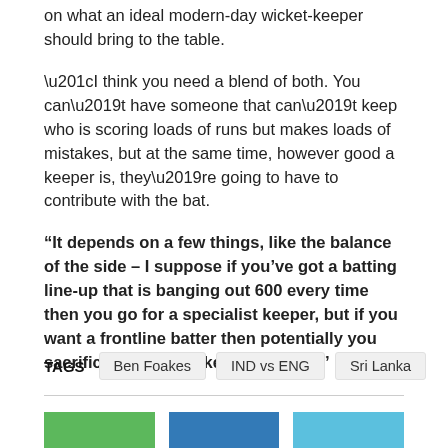on what an ideal modern-day wicket-keeper should bring to the table.
“I think you need a blend of both. You can’t have someone that can’t keep who is scoring loads of runs but makes loads of mistakes, but at the same time, however good a keeper is, they’re going to have to contribute with the bat.
“It depends on a few things, like the balance of the side – I suppose if you’ve got a batting line-up that is banging out 600 every time then you go for a specialist keeper, but if you want a frontline batter then potentially you sacrifice a bit of the keeping ability.”
TAGS  Ben Foakes  IND vs ENG  Sri Lanka